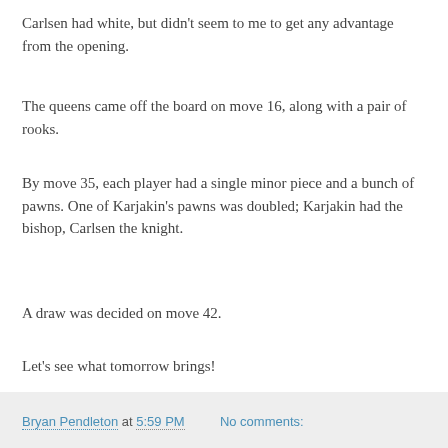Carlsen had white, but didn't seem to me to get any advantage from the opening.
The queens came off the board on move 16, along with a pair of rooks.
By move 35, each player had a single minor piece and a bunch of pawns. One of Karjakin's pawns was doubled; Karjakin had the bishop, Carlsen the knight.
A draw was decided on move 42.
Let's see what tomorrow brings!
Bryan Pendleton at 5:59 PM   No comments:
Thursday, November 10, 2016
Transition
Lots of people are taking this opportunity to say something, so I'll chime in.